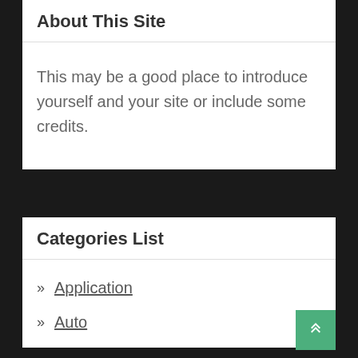About This Site
This may be a good place to introduce yourself and your site or include some credits.
Categories List
Application
Auto